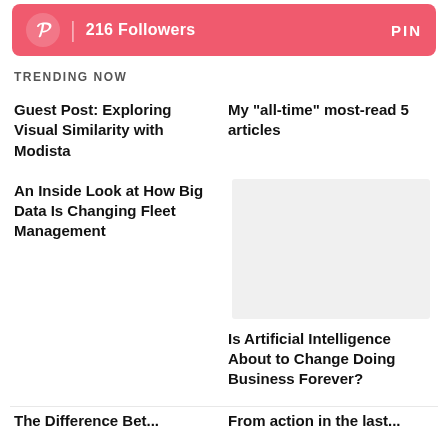[Figure (infographic): Pinterest social media bar showing 216 Followers with PIN button]
TRENDING NOW
Guest Post: Exploring Visual Similarity with Modista
My “all-time” most-read 5 articles
An Inside Look at How Big Data Is Changing Fleet Management
[Figure (photo): Gray image placeholder]
Is Artificial Intelligence About to Change Doing Business Forever?
The Difference Bet...
From action in the last...